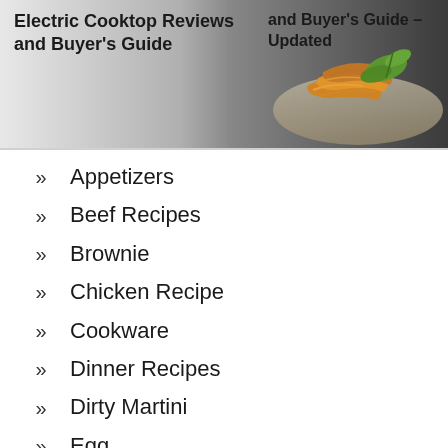[Figure (photo): Header banner with food photo (salad/greens and shredded cheese) on right side with dark gradient background]
Electric Cooktop Reviews and Buyer's Guide – Updated and Buyer's Guide
Appetizers
Beef Recipes
Brownie
Chicken Recipe
Cookware
Dinner Recipes
Dirty Martini
Egg
Finger Food
Fries